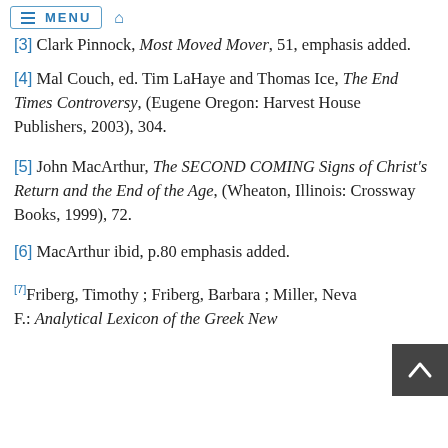MENU [home icon]
[3] Clark Pinnock, Most Moved Mover, 51, emphasis added.
[4] Mal Couch, ed. Tim LaHaye and Thomas Ice, The End Times Controversy, (Eugene Oregon: Harvest House Publishers, 2003), 304.
[5] John MacArthur, The SECOND COMING Signs of Christ's Return and the End of the Age, (Wheaton, Illinois: Crossway Books, 1999), 72.
[6] MacArthur ibid, p.80 emphasis added.
[7] Friberg, Timothy ; Friberg, Barbara ; Miller, Neva F.: Analytical Lexicon of the Greek New Testament...